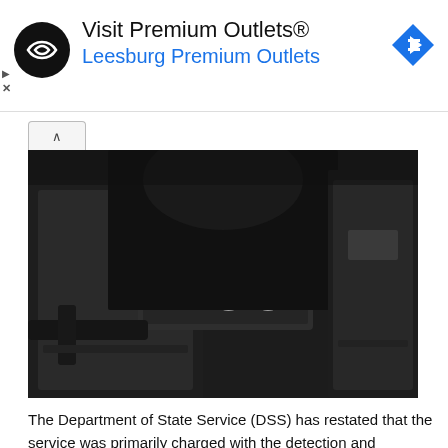[Figure (other): Advertisement banner for Visit Premium Outlets® - Leesburg Premium Outlets with circular black logo and blue navigation arrow icon]
[Figure (photo): DSS (Department of State Service) officers in black tactical gear and body armor with DSS text printed on the vest, holding weapons]
The Department of State Service (DSS) has restated that the service was primarily charged with the detection and prevention, within Nigeria, any crime against the internal security of the country.